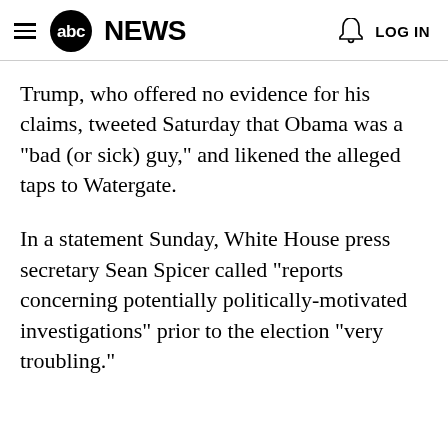abc NEWS  LOG IN
Trump, who offered no evidence for his claims, tweeted Saturday that Obama was a "bad (or sick) guy," and likened the alleged taps to Watergate.
In a statement Sunday, White House press secretary Sean Spicer called "reports concerning potentially politically-motivated investigations" prior to the election "very troubling."